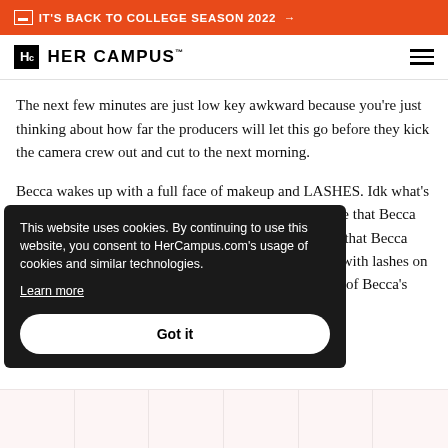IT'S BACK TO COLLEGE SEASON 2022 →
Hc HER CAMPUS™
The next few minutes are just low key awkward because you're just thinking about how far the producers will let this go before they kick the camera crew out and cut to the next morning.
Becca wakes up with a full face of makeup and LASHES. Idk what's more unrealistic, the fact that we're supposed to believe that Becca and Blake haven't done this before the fantasy suite or that Becca sleeps in fake eyelashes. I know a girl who fell asleep with lashes on once and one of them ended up stuck on …s of Becca's staying perfectly
This website uses cookies. By continuing to use this website, you consent to HerCampus.com's usage of cookies and similar technologies.
Learn more
Got it